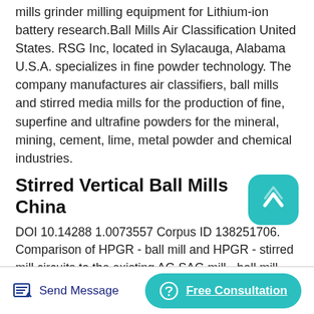mills grinder milling equipment for Lithium-ion battery research.Ball Mills Air Classification United States. RSG Inc, located in Sylacauga, Alabama U.S.A. specializes in fine powder technology. The company manufactures air classifiers, ball mills and stirred media mills for the production of fine, superfine and ultrafine powders for the mineral, mining, cement, lime, metal powder and chemical industries.
Stirred Vertical Ball Mills China
DOI 10.14288 1.0073557 Corpus ID 138251706. Comparison of HPGR - ball mill and HPGR - stirred mill circuits to the existing AG SAG mill - ball mill circuits @inproceedings{Wang2013ComparisonOH, title= {Comparison of HPGR - ball mill and HPGR - stirred mill
Send Message   Free Consultation